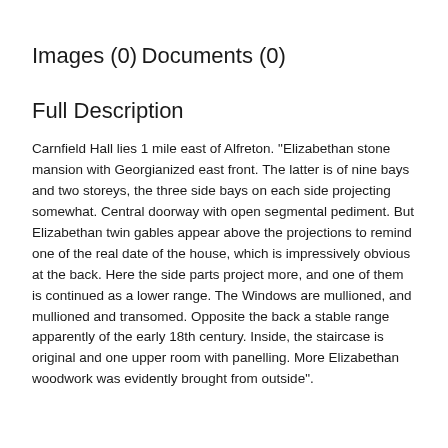Images (0)
Documents (0)
Full Description
Carnfield Hall lies 1 mile east of Alfreton. "Elizabethan stone mansion with Georgianized east front. The latter is of nine bays and two storeys, the three side bays on each side projecting somewhat. Central doorway with open segmental pediment. But Elizabethan twin gables appear above the projections to remind one of the real date of the house, which is impressively obvious at the back. Here the side parts project more, and one of them is continued as a lower range. The Windows are mullioned, and mullioned and transomed. Opposite the back a stable range apparently of the early 18th century. Inside, the staircase is original and one upper room with panelling. More Elizabethan woodwork was evidently brought from outside".